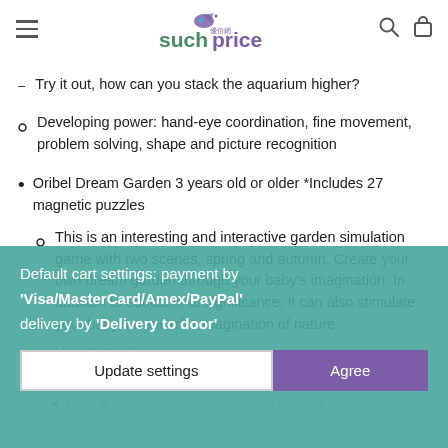suchprice
Try it out, how can you stack the aquarium higher?
Developing power: hand-eye coordination, fine movement, problem solving, shape and picture recognition
Oribel Dream Garden 3 years old or older *Includes 27 magnetic puzzles
This is an interesting and interactive garden simulation game with two scenes, spring and autumn. Create your own dream garden through your baby's imagination. In addition to educational significance, it can also stimulate your baby's wonderful imagination of nature.
How to play?
Default cart settings: payment by 'Visa/MasterCard/Amex/PayPal' delivery by 'Delivery to door'
Build a small garden with magnetic puzzles